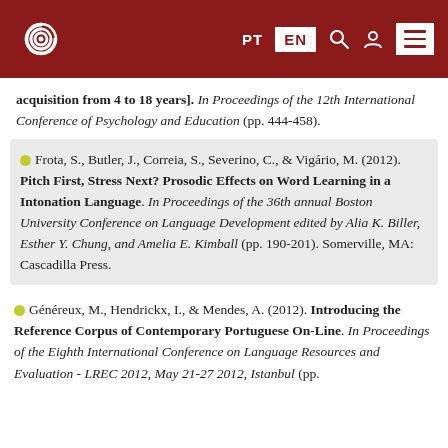PT EN [search] [user] [menu]
acquisition from 4 to 18 years]. In Proceedings of the 12th International Conference of Psychology and Education (pp. 444-458).
Frota, S., Butler, J., Correia, S., Severino, C., & Vigário, M. (2012). Pitch First, Stress Next? Prosodic Effects on Word Learning in a Intonation Language. In Proceedings of the 36th annual Boston University Conference on Language Development edited by Alia K. Biller, Esther Y. Chung, and Amelia E. Kimball (pp. 190-201). Somerville, MA: Cascadilla Press.
Généreux, M., Hendrickx, I., & Mendes, A. (2012). Introducing the Reference Corpus of Contemporary Portuguese On-Line. In Proceedings of the Eighth International Conference on Language Resources and Evaluation - LREC 2012, May 21-27 2012, Istanbul (pp.